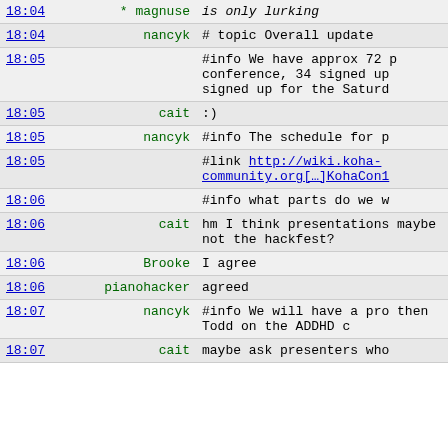| Time | Nick | Message |
| --- | --- | --- |
| 18:04 | * magnuse | is only lurking |
| 18:04 | nancyk | # topic Overall update |
| 18:05 |  | #info We have approx 72 p conference, 34 signed up signed up for the Saturd |
| 18:05 | cait | :) |
| 18:05 | nancyk | #info The schedule for p |
| 18:05 |  | #link http://wiki.koha-community.org[…]KohaCon1 |
| 18:06 |  | #info what parts do we w |
| 18:06 | cait | hm I think presentations maybe not the hackfest? |
| 18:06 | Brooke | I agree |
| 18:06 | pianohacker | agreed |
| 18:07 | nancyk | #info We will have a pro then Todd on the ADDHD c |
| 18:07 | cait | maybe ask presenters who |